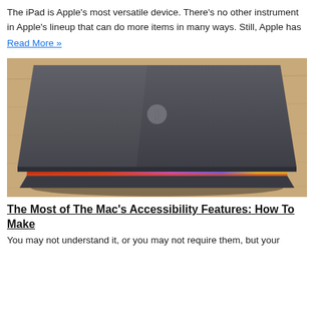The iPad is Apple's most versatile device. There's no other instrument in Apple's lineup that can do more items in many ways. Still, Apple has
Read More »
[Figure (photo): A MacBook laptop partially open on a wooden surface, showing a colorful backlit keyboard glow in red, orange, and purple hues from the screen, with the Apple logo visible on the dark gray lid.]
The Most of The Mac's Accessibility Features: How To Make
You may not understand it, or you may not require them, but your